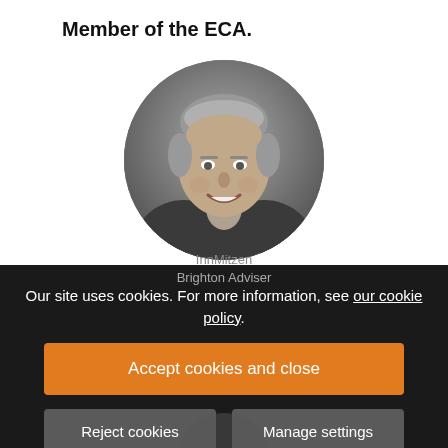Member of the ECA.
[Figure (photo): Circular black-and-white headshot of a smiling middle-aged man in a blazer, used as a profile photo.]
Our site uses cookies. For more information, see our cookie policy.
Accept cookies and close
Reject cookies
Manage settings